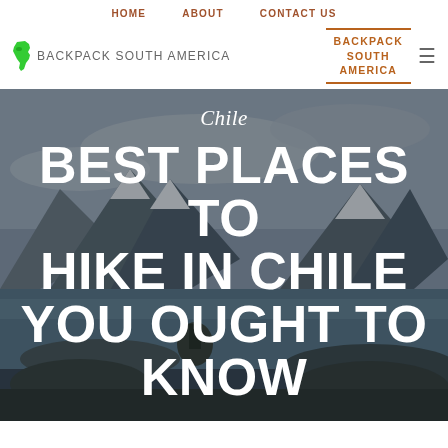HOME   ABOUT   CONTACT US
[Figure (logo): Green South America map shape logo with text BACKPACK SOUTH AMERICA]
[Figure (logo): BACKPACK SOUTH AMERICA branded text box with orange border top and bottom, and hamburger menu icon]
[Figure (photo): Hero photo of hiker standing on rocks with snowy mountains and lake in background, overcast sky. Overlaid text reads Chile in script and BEST PLACES TO HIKE IN CHILE YOU OUGHT TO KNOW in bold white uppercase letters.]
BEST PLACES TO HIKE IN CHILE YOU OUGHT TO KNOW